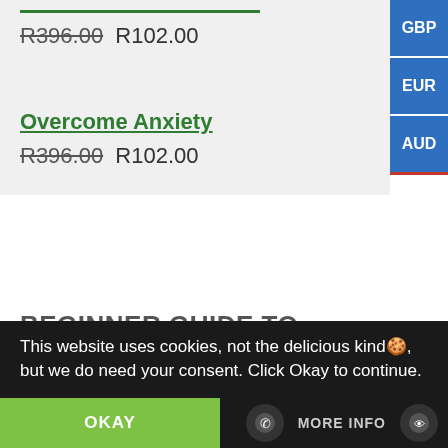R396.00 R102.00
Overcome Anxiety
R396.00 R102.00
BEGINNER GUIDE TO MINDFULNESS
This website uses cookies, not the delicious kind🍪, but we do need your consent. Click Okay to continue.
OKAY
MORE INFO